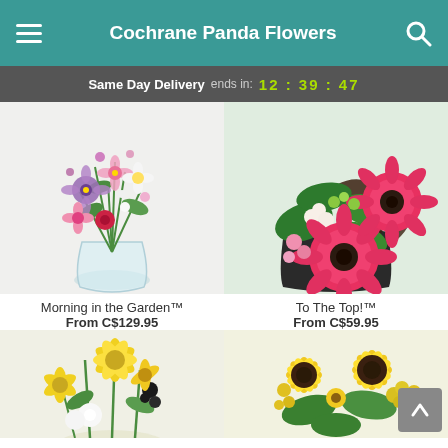Cochrane Panda Flowers
Same Day Delivery ends in: 12 : 39 : 47
[Figure (photo): Bouquet of mixed pink, purple, and white flowers in a clear glass vase - Morning in the Garden]
Morning in the Garden™
From C$129.95
[Figure (photo): Pink gerbera daisy arrangement in a basket with tropical leaves - To The Top!]
To The Top!™
From C$59.95
[Figure (photo): Yellow lily and white flower arrangement - partially visible at bottom left]
[Figure (photo): Yellow sunflower arrangement - partially visible at bottom right]